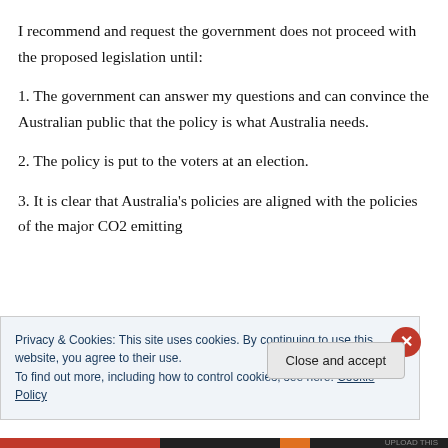I recommend and request the government does not proceed with the proposed legislation until:
1. The government can answer my questions and can convince the Australian public that the policy is what Australia needs.
2. The policy is put to the voters at an election.
3. It is clear that Australia's policies are aligned with the policies of the major CO2 emitting
Privacy & Cookies: This site uses cookies. By continuing to use this website, you agree to their use.
To find out more, including how to control cookies, see here: Cookie Policy
Close and accept